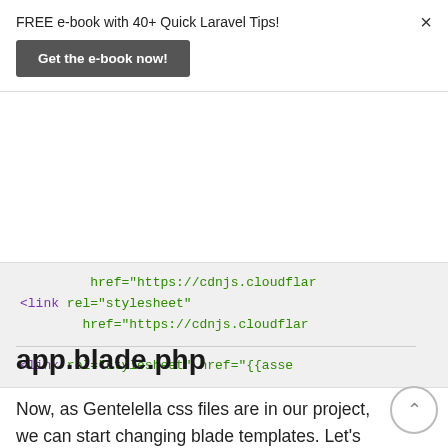FREE e-book with 40+ Quick Laravel Tips!
Get the e-book now!
[Figure (screenshot): Code block showing HTML link tags with href attributes pointing to cdnjs.cloudflare and an asset helper]
app.blade.php
Now, as Gentelella css files are in our project, we can start changing blade templates. Let's start by